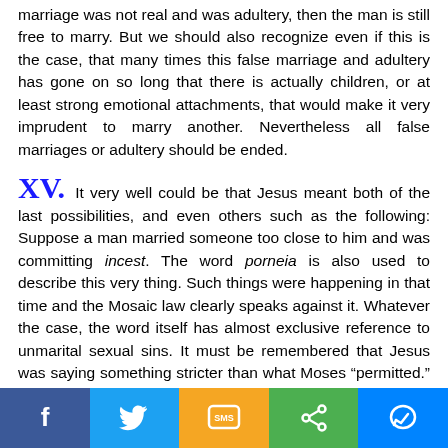marriage was not real and was adultery, then the man is still free to marry. But we should also recognize even if this is the case, that many times this false marriage and adultery has gone on so long that there is actually children, or at least strong emotional attachments, that would make it very imprudent to marry another. Nevertheless all false marriages or adultery should be ended.
XV.
It very well could be that Jesus meant both of the last possibilities, and even others such as the following: Suppose a man married someone too close to him and was committing incest. The word porneia is also used to describe this very thing. Such things were happening in that time and the Mosaic law clearly speaks against it. Whatever the case, the word itself has almost exclusive reference to unmarital sexual sins. It must be remembered that Jesus was saying something stricter than what Moses “permitted.” Now Moses did not appear to grant divorce for mere adultery, even as the law clearly commanded the adulterer to be stoned to death. Therefore it seems that even Moses advocated a limited view of divorce. Nevertheless what he
[Figure (other): Social media sharing toolbar with Facebook, Twitter, SMS, Share, and Messenger buttons]